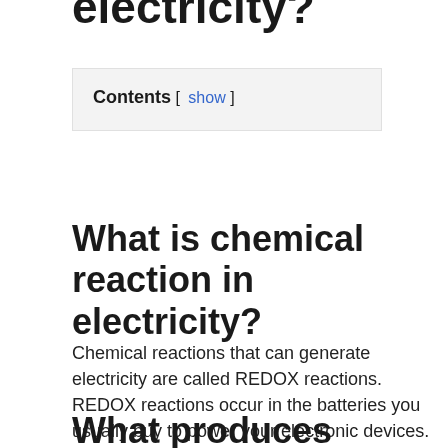electricity?
Contents [ show ]
What is chemical reaction in electricity?
Chemical reactions that can generate electricity are called REDOX reactions. REDOX reactions occur in the batteries you usually buy to power your electronic devices. REDOX reactions consist of two types of reactions. One is called reduction, while the other is called oxidation.
What produces electricity